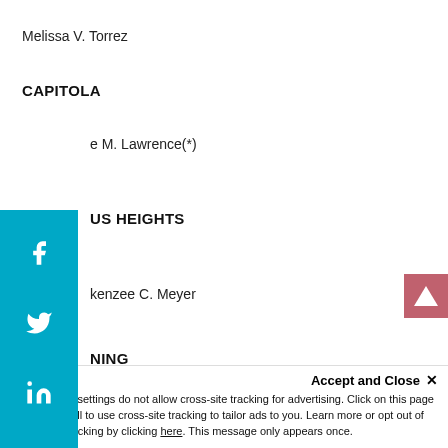Melissa V. Torrez
CAPITOLA
e M. Lawrence(*)
US HEIGHTS
kenzee C. Meyer
NING
ph Mark M. Caputo(*)
CORONA
Accept and Close ×
Your browser settings do not allow cross-site tracking for advertising. Click on this page to allow AdRoll to use cross-site tracking to tailor ads to you. Learn more or opt out of this AdRoll tracking by clicking here. This message only appears once.